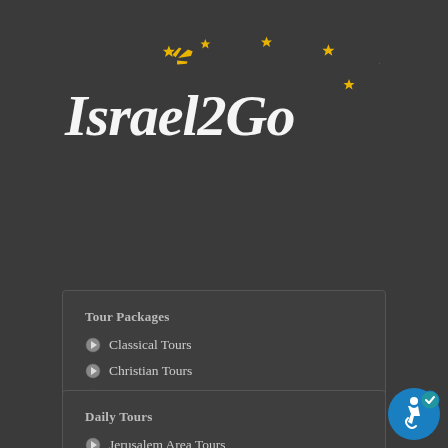[Figure (logo): Israel2Go logo with golden stars and airplane icon above italic white text 'Israel2Go']
Tour Packages
Classical Tours
Christian Tours
Jewish Tours
Jerusalem Tours
Daily Tours
Jerusalem Area Tours